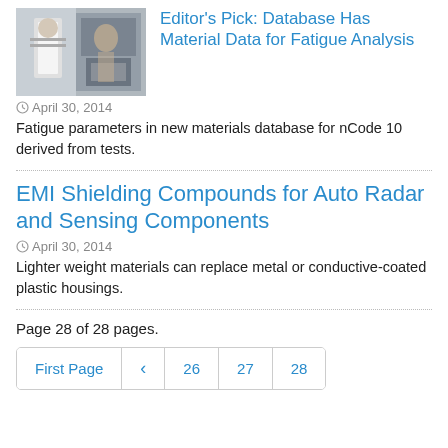[Figure (photo): Photo of a person in a lab or testing environment with machinery]
Editor's Pick: Database Has Material Data for Fatigue Analysis
April 30, 2014
Fatigue parameters in new materials database for nCode 10 derived from tests.
EMI Shielding Compounds for Auto Radar and Sensing Components
April 30, 2014
Lighter weight materials can replace metal or conductive-coated plastic housings.
Page 28 of 28 pages.
First Page  <  26  27  28